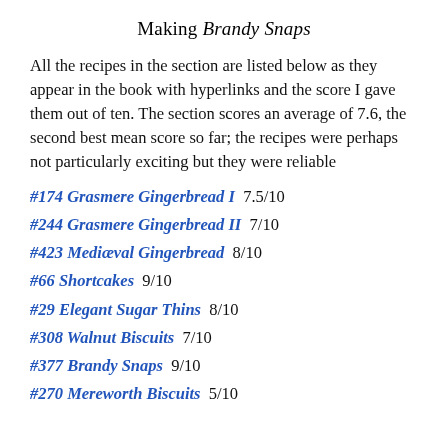Making Brandy Snaps
All the recipes in the section are listed below as they appear in the book with hyperlinks and the score I gave them out of ten. The section scores an average of 7.6, the second best mean score so far; the recipes were perhaps not particularly exciting but they were reliable
#174 Grasmere Gingerbread I  7.5/10
#244 Grasmere Gingerbread II  7/10
#423 Mediæval Gingerbread  8/10
#66 Shortcakes  9/10
#29 Elegant Sugar Thins  8/10
#308 Walnut Biscuits  7/10
#377 Brandy Snaps  9/10
#270 Mereworth Biscuits  5/10